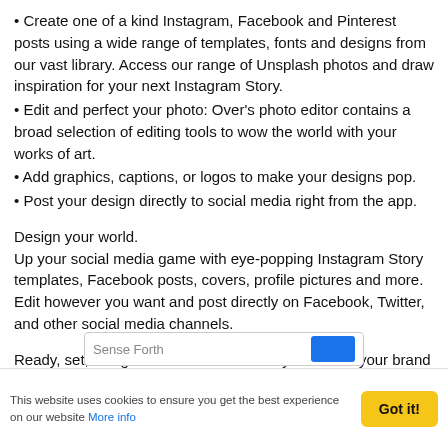• Create one of a kind Instagram, Facebook and Pinterest posts using a wide range of templates, fonts and designs from our vast library. Access our range of Unsplash photos and draw inspiration for your next Instagram Story.
• Edit and perfect your photo: Over's photo editor contains a broad selection of editing tools to wow the world with your works of art.
• Add graphics, captions, or logos to make your designs pop.
• Post your design directly to social media right from the app.
Design your world.
Up your social media game with eye-popping Instagram Story templates, Facebook posts, covers, profile pictures and more. Edit however you want and post directly on Facebook, Twitter, and other social media channels.
Ready, set, design! Download Over today and build your brand at the tap of a button.
Sense Forth
This website uses cookies to ensure you get the best experience on our website More info   Got it!